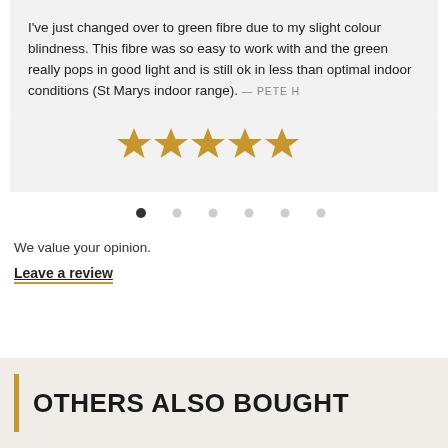I've just changed over to green fibre due to my slight colour blindness. This fibre was so easy to work with and the green really pops in good light and is still ok in less than optimal indoor conditions (St Marys indoor range). — PETE H
[Figure (other): Five gold star rating]
[Figure (other): Carousel pagination dots: one filled, five empty]
We value your opinion.
Leave a review
OTHERS ALSO BOUGHT